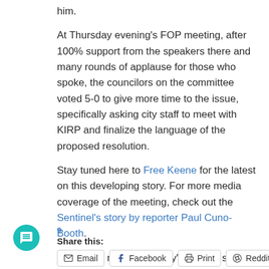him.
At Thursday evening’s FOP meeting, after 100% support from the speakers there and many rounds of applause for those who spoke, the councilors on the committee voted 5-0 to give more time to the issue, specifically asking city staff to meet with KIRP and finalize the language of the proposed resolution.
Stay tuned here to Free Keene for the latest on this developing story. For more media coverage of the meeting, check out the Sentinel’s story by reporter Paul Cuno-Booth.
Also, don’t miss Will Coley’s moving speech – here’s a direct link that will jump you straight to that part of the over hour long video.
Share this:
Email
Facebook
Print
Reddit